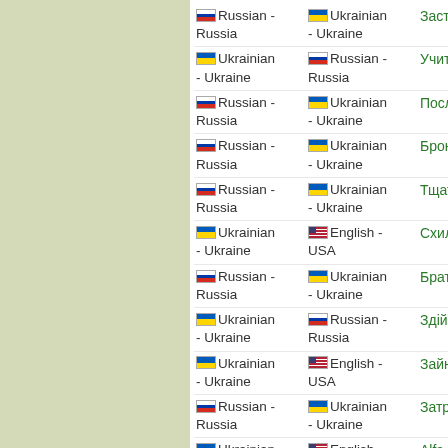Russian - Russia | Ukrainian - Ukraine | Застеклить
Ukrainian - Ukraine | Russian - Russia | Учитися
Russian - Russia | Ukrainian - Ukraine | Пословица
Russian - Russia | Ukrainian - Ukraine | Бронзовый
Russian - Russia | Ukrainian - Ukraine | Тщательный
Ukrainian - Ukraine | English - USA | Схильний
Russian - Russia | Ukrainian - Ukraine | Брат
Ukrainian - Ukraine | Russian - Russia | Здійснюється
Ukrainian - Ukraine | English - USA | Зайнятий
Russian - Russia | Ukrainian - Ukraine | Затронуть
Ukrainian - Ukraine | English - USA | Alfa Romeo
Russian - Russia | English - USA | Следопыт